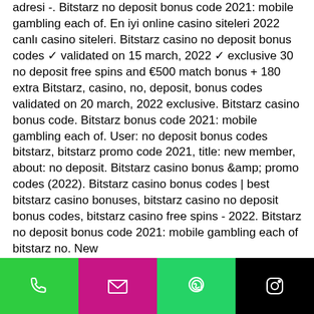adresi -. Bitstarz no deposit bonus code 2021: mobile gambling each of. En iyi online casino siteleri 2022 canlı casino siteleri. Bitstarz casino no deposit bonus codes ✓ validated on 15 march, 2022 ✓ exclusive 30 no deposit free spins and €500 match bonus + 180 extra Bitstarz, casino, no, deposit, bonus codes validated on 20 march, 2022 exclusive. Bitstarz casino bonus code. Bitstarz bonus code 2021: mobile gambling each of. User: no deposit bonus codes bitstarz, bitstarz promo code 2021, title: new member, about: no deposit. Bitstarz casino bonus &amp;amp; promo codes (2022). Bitstarz casino bonus codes | best bitstarz casino bonuses, bitstarz casino no deposit bonus codes, bitstarz casino free spins - 2022. Bitstarz no deposit bonus code 2021: mobile gambling each of bitstarz no. New
[Figure (other): Bottom navigation bar with four buttons: phone (dark green), email (pink/magenta), WhatsApp (light green), Instagram (black)]